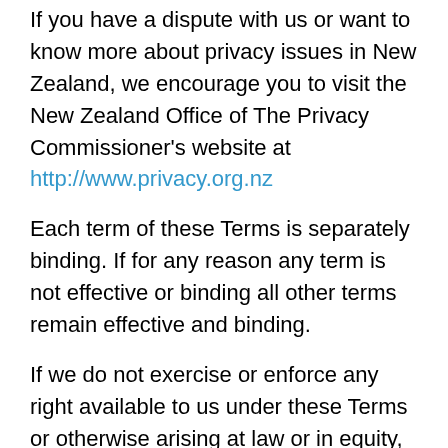If you have a dispute with us or want to know more about privacy issues in New Zealand, we encourage you to visit the New Zealand Office of The Privacy Commissioner's website at http://www.privacy.org.nz
Each term of these Terms is separately binding. If for any reason any term is not effective or binding all other terms remain effective and binding.
If we do not exercise or enforce any right available to us under these Terms or otherwise arising at law or in equity, this does not constitute a waiver of those rights.
These Terms (and the provision of products and services by us) are governed by and to be interpreted solely in accordance with New Zealand law. In the event of any dispute arising in relation to these Terms or their subject matter, the New Zealand courts will have non-exclusive jurisdiction over the same.